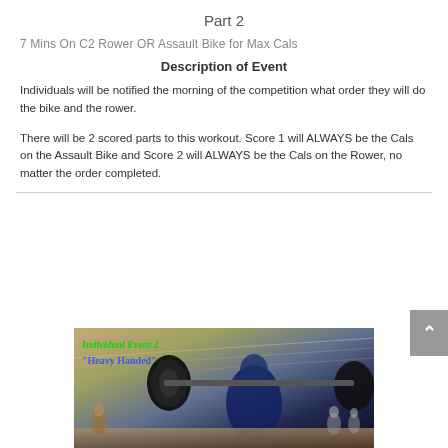Part 2
7 Mins On C2 Rower OR Assault Bike for Max Cals
Description of Event
Individuals will be notified the morning of the competition what order they will do the bike and the rower.
There will be 2 scored parts to this workout. Score 1 will ALWAYS be the Cals on the Assault Bike and Score 2 will ALWAYS be the Cals on the Rower, no matter the order completed.
[Figure (photo): Photo of a weightlifter performing a lift in a gym/barn setting, with overlaid text reading 'Individual Event 2' in green italic and '"Heavy Handed"' in blue bold.]